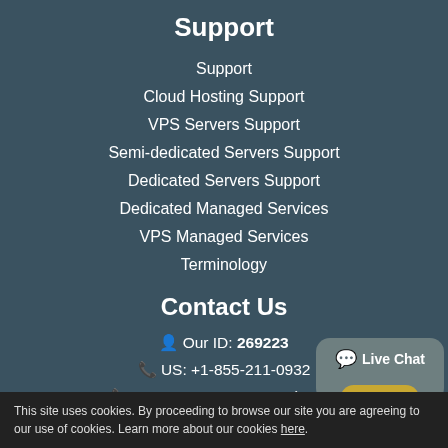Support
Support
Cloud Hosting Support
VPS Servers Support
Semi-dedicated Servers Support
Dedicated Servers Support
Dedicated Managed Services
VPS Managed Services
Terminology
Contact Us
Our ID: 269223
US: +1-855-211-0932
US: +1-727-546-HOST(4678)
UK: +44-20-3695-1294
AU: +61-2-8417-2372
This site uses cookies. By proceeding to browse our site you are agreeing to our use of cookies. Learn more about our cookies here.